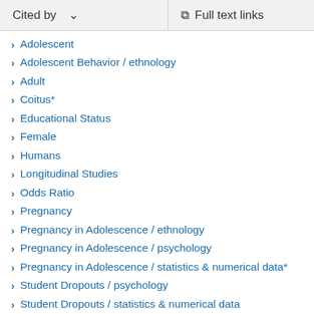Cited by   Full text links
Adolescent
Adolescent Behavior / ethnology
Adult
Coitus*
Educational Status
Female
Humans
Longitudinal Studies
Odds Ratio
Pregnancy
Pregnancy in Adolescence / ethnology
Pregnancy in Adolescence / psychology
Pregnancy in Adolescence / statistics & numerical data*
Student Dropouts / psychology
Student Dropouts / statistics & numerical data
Time Factors